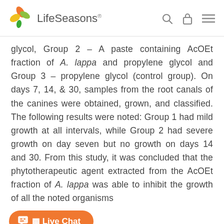LifeSeasons
glycol, Group 2 – A paste containing AcOEt fraction of A. lappa and propylene glycol and Group 3 – propylene glycol (control group). On days 7, 14, & 30, samples from the root canals of the canines were obtained, grown, and classified. The following results were noted: Group 1 had mild growth at all intervals, while Group 2 had severe growth on day seven but no growth on days 14 and 30. From this study, it was concluded that the phytotherapeutic agent extracted from the AcOEt fraction of A. lappa was able to inhibit the growth of all the noted organisms
Another study was conducted to assess the